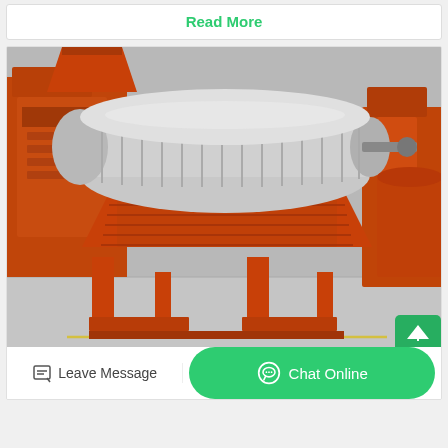Read More
[Figure (photo): Industrial orange magnetic separation machine (drum/cylinder style separator) on a factory floor, surrounded by other orange industrial equipment. The machine features a large silver/metallic cylindrical drum with horizontal ridges, mounted on an orange steel frame with legs.]
experiment with magnetic separation
Leave Message
Chat Online